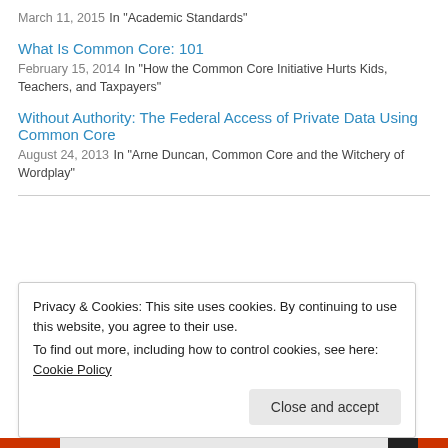March 11, 2015
In "Academic Standards"
What Is Common Core: 101
February 15, 2014
In "How the Common Core Initiative Hurts Kids, Teachers, and Taxpayers"
Without Authority: The Federal Access of Private Data Using Common Core
August 24, 2013
In "Arne Duncan, Common Core and the Witchery of Wordplay"
Privacy & Cookies: This site uses cookies. By continuing to use this website, you agree to their use.
To find out more, including how to control cookies, see here: Cookie Policy
Close and accept